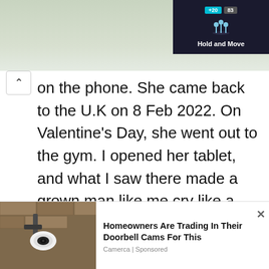[Figure (screenshot): Top portion of a mobile app screenshot showing a dark overlay with 'Hold and Move' text and game score elements, over a nature background image.]
on the phone. She came back to the U.K on 8 Feb 2022. On Valentine's Day, she went out to the gym. I opened her tablet, and what I saw there made a grown man like me cry like a baby. She did several sex scenes with a Zambian man. While they were having sex, her sisters
[Figure (photo): Advertisement image showing a security camera mounted on a wall bracket against a stone wall.]
Homeowners Are Trading In Their Doorbell Cams For This
Camerca | Sponsored